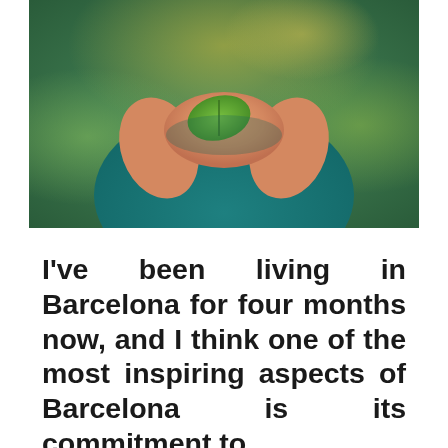[Figure (photo): Close-up photograph of a person wearing a teal top, holding green leaves in their hands cupped together. Blurred green bokeh background with warm light tones.]
I've been living in Barcelona for four months now, and I think one of the most inspiring aspects of Barcelona is its commitment to sustainability